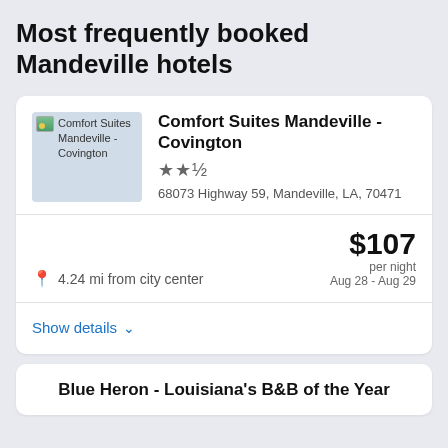Most frequently booked Mandeville hotels
[Figure (photo): Hotel thumbnail image placeholder for Comfort Suites Mandeville - Covington]
Comfort Suites Mandeville - Covington
★★½
68073 Highway 59, Mandeville, LA, 70471
4.24 mi from city center
$107 per night
Aug 28 - Aug 29
Show details
Blue Heron - Louisiana's B&B of the Year